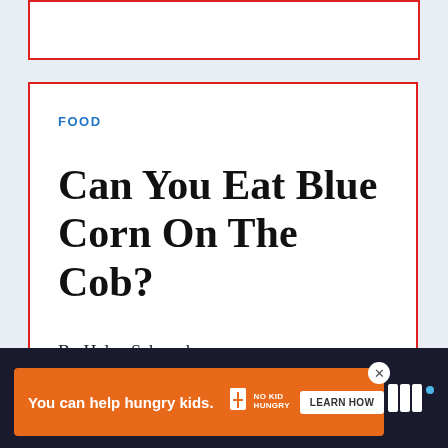FOOD
Can You Eat Blue Corn On The Cob?
By Haley Schroeder
[Figure (screenshot): Share button icon (circle with share symbol)]
[Figure (screenshot): What's Next panel with thumbnail and text: WHAT'S NEXT → How long does it take....]
[Figure (screenshot): Advertisement banner: You can help hungry kids. No Kid Hungry logo. LEARN HOW button.]